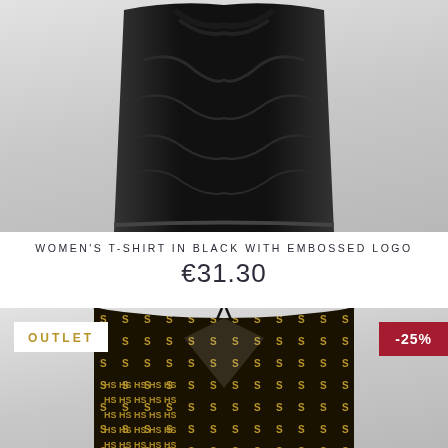[Figure (photo): Women's black t-shirt product photo on light gray gradient background, showing ruched/gathered black fabric top]
WOMEN'S T-SHIRT IN BLACK WITH EMBOSSED LOGO
€31.30
[Figure (photo): Women's black and gold patterned halter/bikini top product photo on light gray gradient background, with OUTLET badge and -25% discount badge]